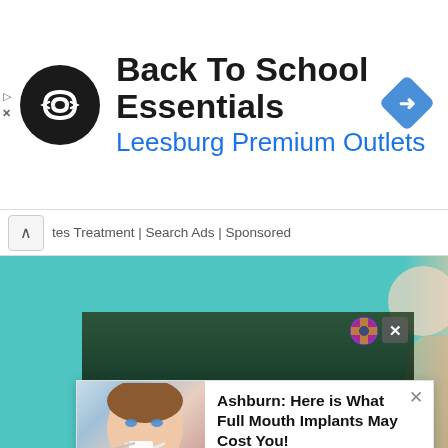[Figure (screenshot): Top banner ad for Back To School Essentials at Leesburg Premium Outlets with circular logo and navigation icon]
Back To School Essentials
Leesburg Premium Outlets
tes Treatment | Search Ads | Sponsored
[Figure (screenshot): Teal/turquoise content area with overlapping popup ads]
Barça's best goals against Real So...
Ashburn: Here is What Full Mouth Implants May Cost You!
Full Mouth Dental Implant Cost | Sponsored